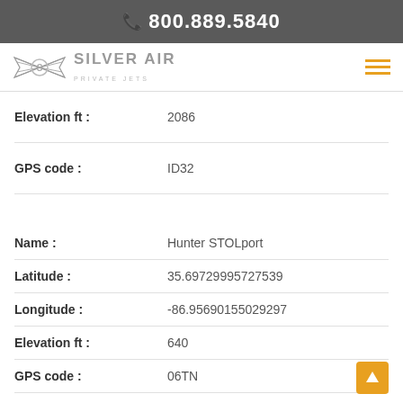📞 800.889.5840
[Figure (logo): Silver Air Private Jets logo with wings emblem]
| Field | Value |
| --- | --- |
| Elevation ft : | 2086 |
| GPS code : | ID32 |
| Field | Value |
| --- | --- |
| Name : | Hunter STOLport |
| Latitude : | 35.69729995727539 |
| Longitude : | -86.95690155029297 |
| Elevation ft : | 640 |
| GPS code : | 06TN |
| Field | Value |
| --- | --- |
| Name : | Stangl STOLport |